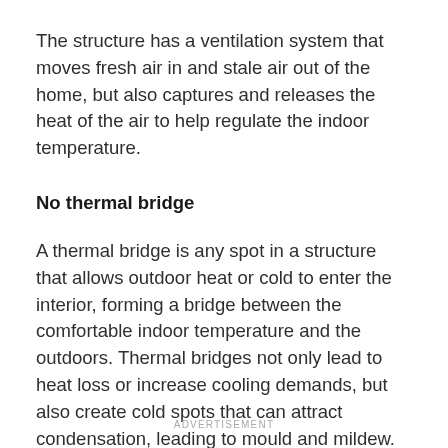The structure has a ventilation system that moves fresh air in and stale air out of the home, but also captures and releases the heat of the air to help regulate the indoor temperature.
No thermal bridge
A thermal bridge is any spot in a structure that allows outdoor heat or cold to enter the interior, forming a bridge between the comfortable indoor temperature and the outdoors. Thermal bridges not only lead to heat loss or increase cooling demands, but also create cold spots that can attract condensation, leading to mould and mildew.
ADVERTISEMENT